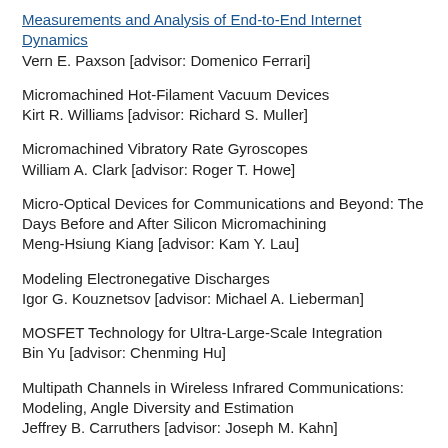Measurements and Analysis of End-to-End Internet Dynamics
Vern E. Paxson [advisor: Domenico Ferrari]
Micromachined Hot-Filament Vacuum Devices
Kirt R. Williams [advisor: Richard S. Muller]
Micromachined Vibratory Rate Gyroscopes
William A. Clark [advisor: Roger T. Howe]
Micro-Optical Devices for Communications and Beyond: The Days Before and After Silicon Micromachining
Meng-Hsiung Kiang [advisor: Kam Y. Lau]
Modeling Electronegative Discharges
Igor G. Kouznetsov [advisor: Michael A. Lieberman]
MOSFET Technology for Ultra-Large-Scale Integration
Bin Yu [advisor: Chenming Hu]
Multipath Channels in Wireless Infrared Communications: Modeling, Angle Diversity and Estimation
Jeffrey B. Carruthers [advisor: Joseph M. Kahn]
Optical Constants of Materials in the EUV/Soft X-Ray Region f...